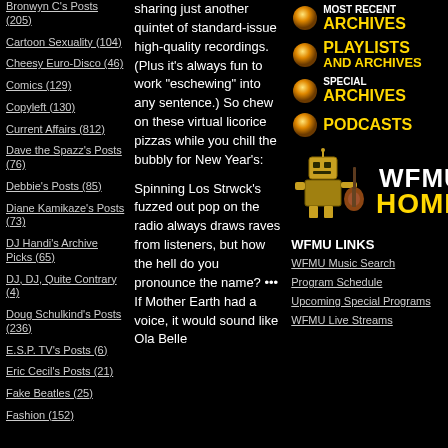Bronwyn C's Posts (205)
Cartoon Sexuality (104)
Cheesy Euro-Disco (46)
Comics (129)
Copyleft (130)
Current Affairs (812)
Dave the Spazz's Posts (76)
Debbie's Posts (85)
Diane Kamikaze's Posts (73)
DJ Handi's Archive Picks (65)
DJ, DJ, Quite Contrary (4)
Doug Schulkind's Posts (236)
E.S.P. TV's Posts (6)
Eric Cecil's Posts (21)
Fake Beatles (25)
Fashion (152)
sharing just another quintet of standard-issue high-quality recordings. (Plus it's always fun to work "eschewing" into any sentence.) So chew on these virtual licorice pizzas while you chill the bubbly for New Year's:
Spinning Los Strwck's fuzzed out pop on the radio always draws raves from listeners, but how the hell do you pronounce the name? ••• If Mother Earth had a voice, it would sound like Ola Belle
[Figure (infographic): Orange dot bullet for Most Recent Archives]
[Figure (infographic): Orange dot bullet for Playlists and Archives]
[Figure (infographic): Orange dot bullet for Special Archives]
[Figure (infographic): Orange dot bullet for Podcasts]
[Figure (logo): WFMU HOME logo with robot character playing guitar]
WFMU LINKS
WFMU Music Search
Program Schedule
Upcoming Special Programs
WFMU Live Streams